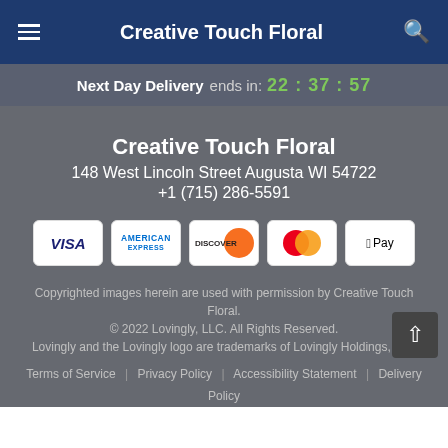Creative Touch Floral
Next Day Delivery ends in: 22 : 37 : 57
Creative Touch Floral
148 West Lincoln Street Augusta WI 54722
+1 (715) 286-5591
[Figure (logo): Payment method icons: VISA, American Express, Discover, Mastercard, Apple Pay]
Copyrighted images herein are used with permission by Creative Touch Floral.
© 2022 Lovingly, LLC. All Rights Reserved.
Lovingly and the Lovingly logo are trademarks of Lovingly Holdings, LLC
Terms of Service | Privacy Policy | Accessibility Statement | Delivery Policy